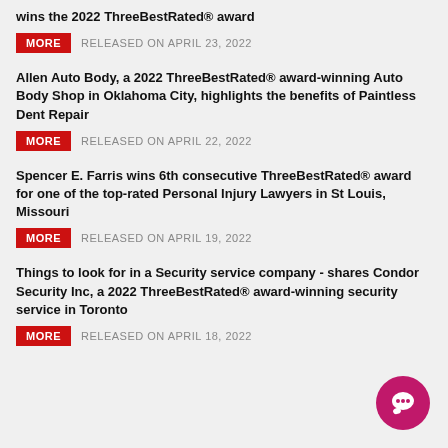wins the 2022 ThreeBestRated® award
MORE  RELEASED ON APRIL 23, 2022
Allen Auto Body, a 2022 ThreeBestRated® award-winning Auto Body Shop in Oklahoma City, highlights the benefits of Paintless Dent Repair
MORE  RELEASED ON APRIL 22, 2022
Spencer E. Farris wins 6th consecutive ThreeBestRated® award for one of the top-rated Personal Injury Lawyers in St Louis, Missouri
MORE  RELEASED ON APRIL 19, 2022
Things to look for in a Security service company - shares Condor Security Inc, a 2022 ThreeBestRated® award-winning security service in Toronto
MORE  RELEASED ON APRIL 18, 2022